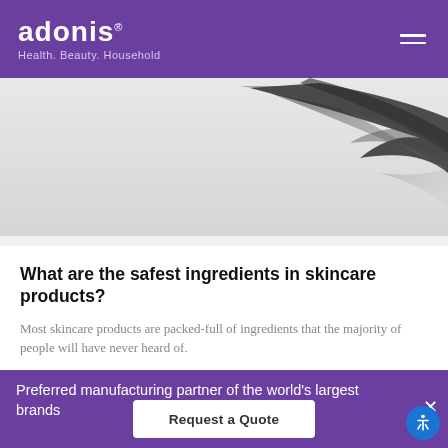adonis® Health. Beauty. Household
[Figure (photo): Hero image with dark feather or swoosh graphic on a light gray background]
What are the safest ingredients in skincare products?
Most skincare products are packed-full of ingredients that the majority of people will have never heard of.
Preferred manufacturing partner of the world's largest brands
Request a Quote